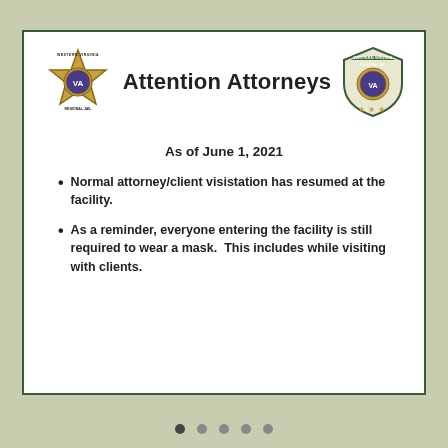[Figure (logo): Western Virginia Regional Jail star badge logo (left)]
Attention Attorneys
[Figure (logo): Western Virginia Regional Jail shield/patch logo (right)]
As of June 1, 2021
Normal attorney/client visistation has resumed at the facility.
As a reminder, everyone entering the facility is still required to wear a mask.  This includes while visiting with clients.